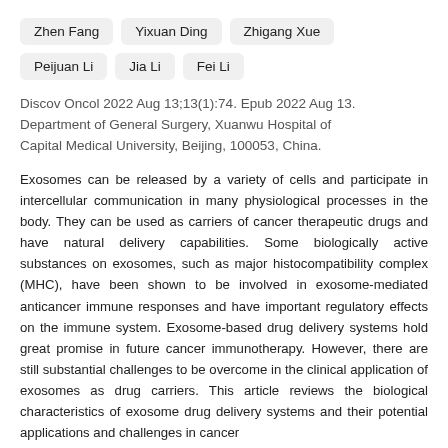Zhen Fang
Yixuan Ding
Zhigang Xue
Peijuan Li
Jia Li
Fei Li
Discov Oncol 2022 Aug 13;13(1):74. Epub 2022 Aug 13. Department of General Surgery, Xuanwu Hospital of Capital Medical University, Beijing, 100053, China.
Exosomes can be released by a variety of cells and participate in intercellular communication in many physiological processes in the body. They can be used as carriers of cancer therapeutic drugs and have natural delivery capabilities. Some biologically active substances on exosomes, such as major histocompatibility complex (MHC), have been shown to be involved in exosome-mediated anticancer immune responses and have important regulatory effects on the immune system. Exosome-based drug delivery systems hold great promise in future cancer immunotherapy. However, there are still substantial challenges to be overcome in the clinical application of exosomes as drug carriers. This article reviews the biological characteristics of exosome drug delivery systems and their potential applications and challenges in cancer immunotherapy.